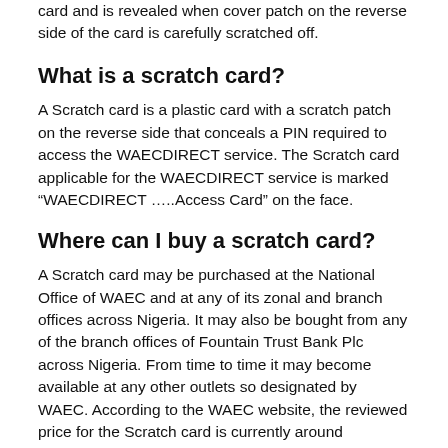card and is revealed when cover patch on the reverse side of the card is carefully scratched off.
What is a scratch card?
A Scratch card is a plastic card with a scratch patch on the reverse side that conceals a PIN required to access the WAECDIRECT service. The Scratch card applicable for the WAECDIRECT service is marked “WAECDIRECT …..Access Card” on the face.
Where can I buy a scratch card?
A Scratch card may be purchased at the National Office of WAEC and at any of its zonal and branch offices across Nigeria. It may also be bought from any of the branch offices of Fountain Trust Bank Plc across Nigeria. From time to time it may become available at any other outlets so designated by WAEC. According to the WAEC website, the reviewed price for the Scratch card is currently around